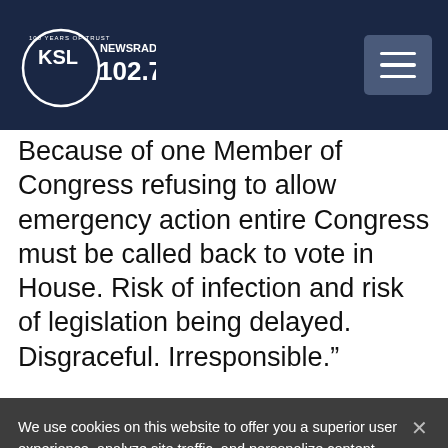KSL NewsRadio 102.7FM
Because of one Member of Congress refusing to allow emergency action entire Congress must be called back to vote in House. Risk of infection and risk of legislation being delayed. Disgraceful. Irresponsible.”
We use cookies on this website to offer you a superior user experience, analyze site traffic, and personalize content and advertisements. By continuing to use our site, you consent to our use of cookies. Please visit our Privacy Policy for more information.
Accept Cookies